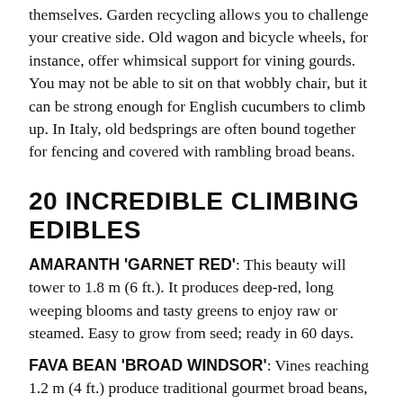themselves. Garden recycling allows you to challenge your creative side. Old wagon and bicycle wheels, for instance, offer whimsical support for vining gourds. You may not be able to sit on that wobbly chair, but it can be strong enough for English cucumbers to climb up. In Italy, old bedsprings are often bound together for fencing and covered with rambling broad beans.
20 INCREDIBLE CLIMBING EDIBLES
AMARANTH 'GARNET RED': This beauty will tower to 1.8 m (6 ft.). It produces deep-red, long weeping blooms and tasty greens to enjoy raw or steamed. Easy to grow from seed; ready in 60 days.
FAVA BEAN 'BROAD WINDSOR': Vines reaching 1.2 m (4 ft.) produce traditional gourmet broad beans, 12 cm (5 in.) long. Sow in very early spring, or late fall in milder